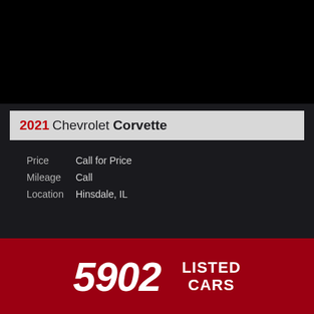[Figure (photo): Black top area representing a car photo placeholder]
2021 Chevrolet Corvette
Price    Call for Price
Mileage  Call
Location Hinsdale, IL
Your link to the world's finest cars
5902 LISTED CARS